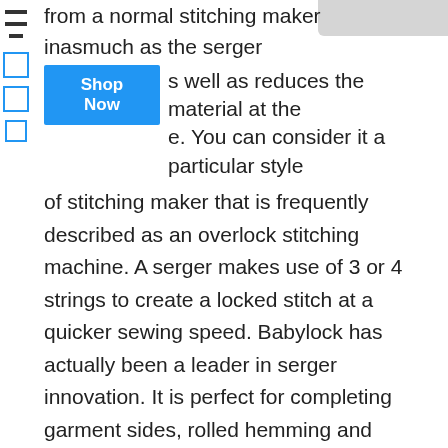[Figure (photo): Partial image of a sewing/serger machine, top-right corner]
from a normal stitching maker inasmuch as the serger s well as reduces the material at the e. You can consider it a particular style of stitching maker that is frequently described as an overlock stitching machine. A serger makes use of 3 or 4 strings to create a locked stitch at a quicker sewing speed. Babylock has actually been a leader in serger innovation. It is perfect for completing garment sides, rolled hemming and Flatlock stitching. Clearly designed for the innovative customer.
[Figure (other): Blue 'Shop Now' button]
The Sibling CS-5055 Project Runway 50 Stitch Computerized Embroidery Maker is